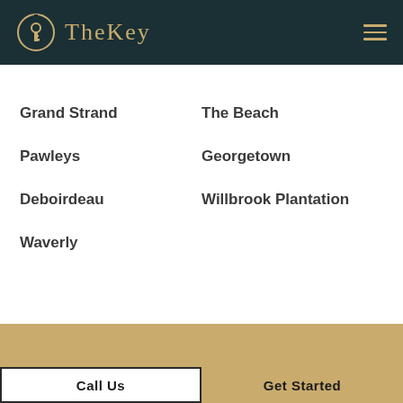TheKey
Grand Strand
The Beach
Pawleys
Georgetown
Deboirdeau
Willbrook Plantation
Waverly
Call Us | Get Started